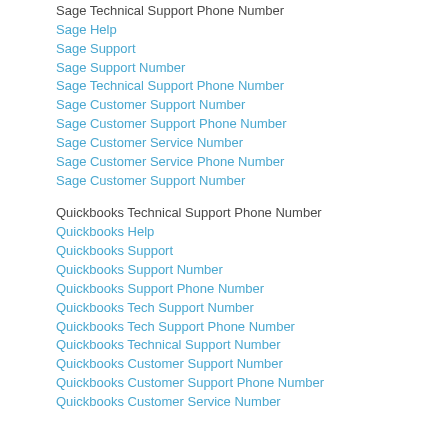Sage Technical Support Phone Number
Sage Help
Sage Support
Sage Support Number
Sage Technical Support Phone Number
Sage Customer Support Number
Sage Customer Support Phone Number
Sage Customer Service Number
Sage Customer Service Phone Number
Sage Customer Support Number
Quickbooks Technical Support Phone Number
Quickbooks Help
Quickbooks Support
Quickbooks Support Number
Quickbooks Support Phone Number
Quickbooks Tech Support Number
Quickbooks Tech Support Phone Number
Quickbooks Technical Support Number
Quickbooks Customer Support Number
Quickbooks Customer Support Phone Number
Quickbooks Customer Service Number